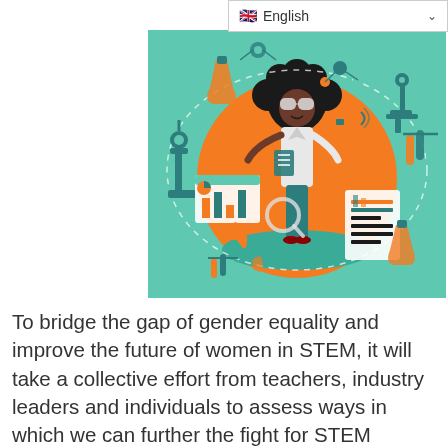English
[Figure (illustration): Colorful illustration of a Black woman scientist with an afro and large goggles, wearing a lab coat, surrounded by science icons including microscopes, flasks, molecules, charts, and test tubes on a teal background with a large orange circle.]
To bridge the gap of gender equality and improve the future of women in STEM, it will take a collective effort from teachers, industry leaders and individuals to assess ways in which we can further the fight for STEM women. We need to put in place robust programs such as Implicit Bias training and plans in place that encourage and support women and